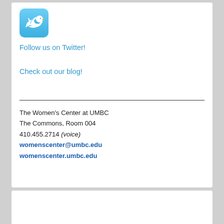[Figure (logo): Twitter bird logo — light blue rounded square with white bird icon]
Follow us on Twitter!
Check out our blog!
The Women's Center at UMBC
The Commons, Room 004
410.455.2714 (voice)
womenscenter@umbc.edu
womenscenter.umbc.edu
Files